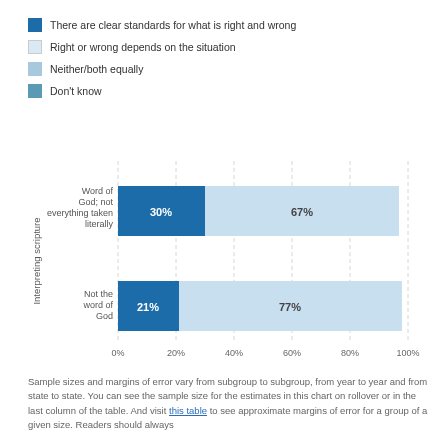[Figure (stacked-bar-chart): Interpreting scripture]
Sample sizes and margins of error vary from subgroup to subgroup, from year to year and from state to state. You can see the sample size for the estimates in this chart on rollover or in the last column of the table. And visit this table to see approximate margins of error for a group of a given size. Readers should always